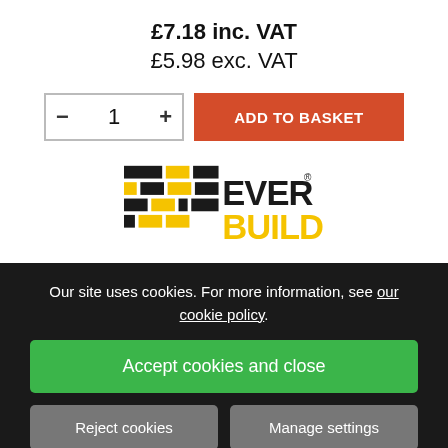£7.18 inc. VAT
£5.98 exc. VAT
[Figure (other): Quantity selector with minus and plus buttons showing 1, and an orange ADD TO BASKET button]
[Figure (logo): Everbuild logo with brick pattern in black and yellow with registered trademark symbol]
Our site uses cookies. For more information, see our cookie policy.
Accept cookies and close
Reject cookies
Manage settings
Everbuild ONE STRIKE FILLER